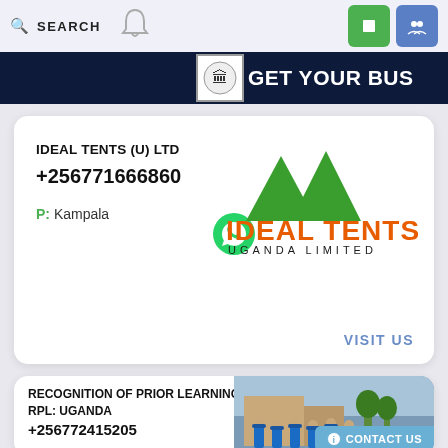SEARCH
GET YOUR BUS
IDEAL TENTS (U) LTD
+256771666860
P: Kampala
[Figure (logo): Ideal Tents Uganda Limited logo with green mountain/tent peaks and orange text. Tagline: Ideal For Finest Quality]
VISIT US
RECOGNITION OF PRIOR LEARNING - RPL: UGANDA
+256772415205
[Figure (photo): Group of workers in blue hard hats and uniforms outdoors]
CONTACT US